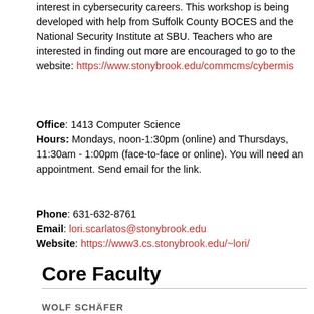interest in cybersecurity careers. This workshop is being developed with help from Suffolk County BOCES and the National Security Institute at SBU. Teachers who are interested in finding out more are encouraged to go to the website: https://www.stonybrook.edu/commcms/cybermis
Office: 1413 Computer Science
Hours: Mondays, noon-1:30pm (online) and Thursdays, 11:30am - 1:00pm (face-to-face or online). You will need an appointment. Send email for the link.
Phone: 631-632-8761
Email: lori.scarlatos@stonybrook.edu
Website: https://www3.cs.stonybrook.edu/~lori/
Core Faculty
WOLF SCHÄFER